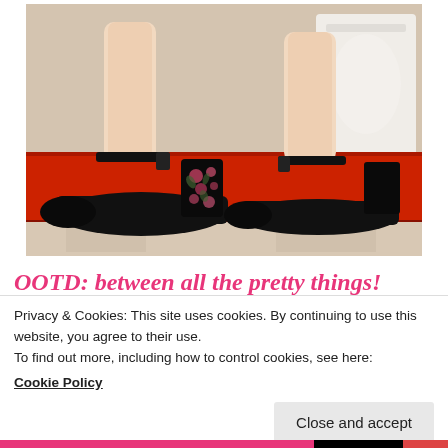[Figure (photo): Close-up photo of a woman's legs wearing black block-heel pumps with floral embroidery on the heel, with ankle straps, standing on a red carpet/rug on a light marble floor. The left shoe shows the decorated heel clearly.]
OOTD: between all the pretty things!
Privacy & Cookies: This site uses cookies. By continuing to use this website, you agree to their use.
To find out more, including how to control cookies, see here:
Cookie Policy
Close and accept